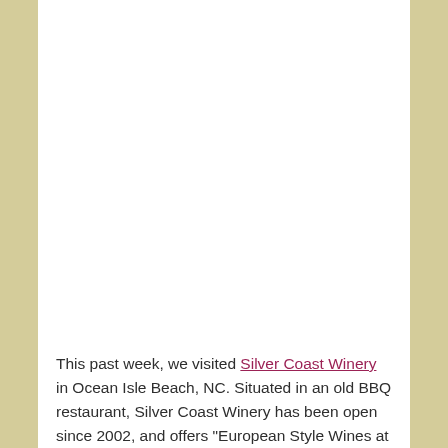[Figure (photo): Large white/blank image area at the top of the page, approximately two-thirds of the page height.]
This past week, we visited Silver Coast Winery in Ocean Isle Beach, NC. Situated in an old BBQ restaurant, Silver Coast Winery has been open since 2002, and offers "European Style Wines at